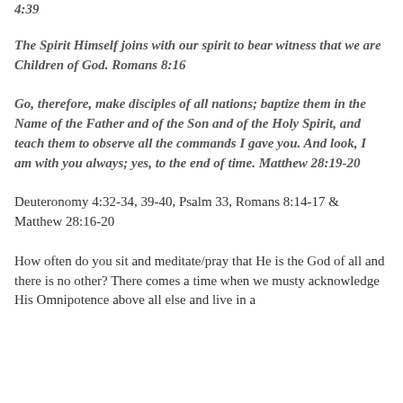4:39
The Spirit Himself joins with our spirit to bear witness that we are Children of God. Romans 8:16
Go, therefore, make disciples of all nations; baptize them in the Name of the Father and of the Son and of the Holy Spirit, and teach them to observe all the commands I gave you. And look, I am with you always; yes, to the end of time. Matthew 28:19-20
Deuteronomy 4:32-34, 39-40, Psalm 33, Romans 8:14-17 & Matthew 28:16-20
How often do you sit and meditate/pray that He is the God of all and there is no other? There comes a time when we musty acknowledge His Omnipotence above all else and live in a